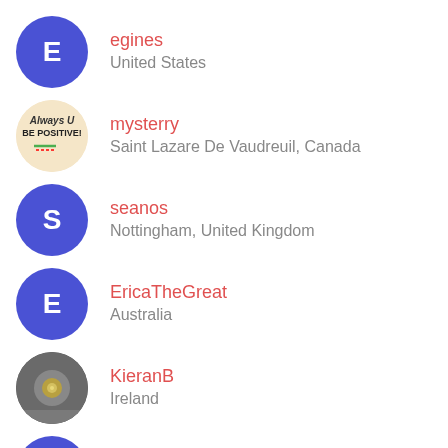egines
United States
mysterry
Saint Lazare De Vaudreuil, Canada
seanos
Nottingham, United Kingdom
EricaTheGreat
Australia
KieranB
Ireland
Madtowner
United States